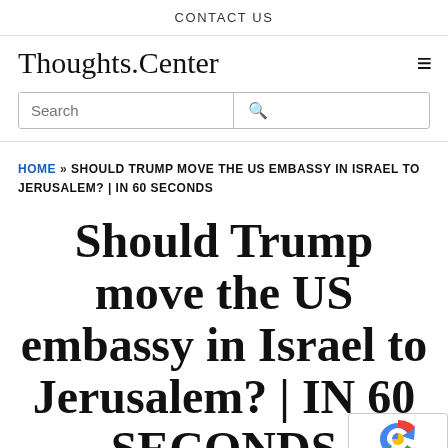CONTACT US
Thoughts.Center
Search
HOME » SHOULD TRUMP MOVE THE US EMBASSY IN ISRAEL TO JERUSALEM? | IN 60 SECONDS
Should Trump move the US embassy in Israel to Jerusalem? | IN 60 SECONDS